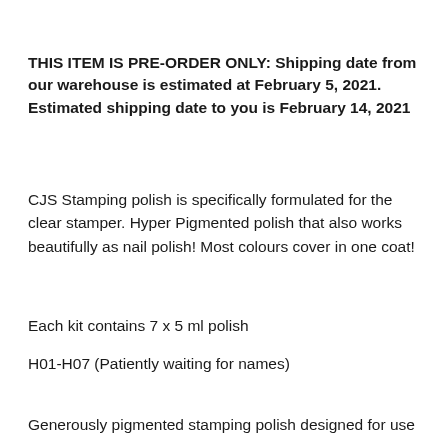THIS ITEM IS PRE-ORDER ONLY: Shipping date from our warehouse is estimated at February 5, 2021. Estimated shipping date to you is February 14, 2021
CJS Stamping polish is specifically formulated for the clear stamper. Hyper Pigmented polish that also works beautifully as nail polish! Most colours cover in one coat!
Each kit contains 7 x 5 ml polish
H01-H07 (Patiently waiting for names)
Generously pigmented stamping polish designed for use